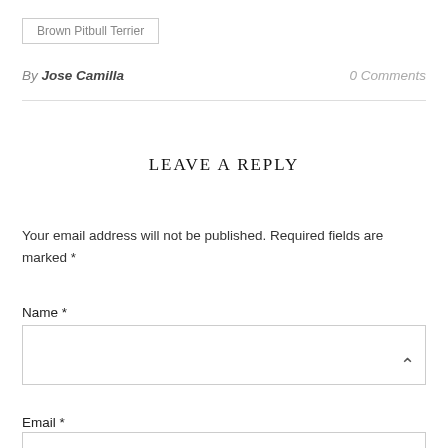Brown Pitbull Terrier
By Jose Camilla   0 Comments
LEAVE A REPLY
Your email address will not be published. Required fields are marked *
Name *
Email *